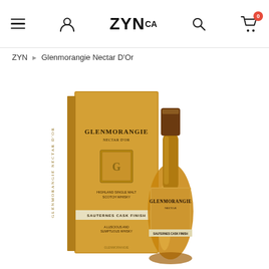ZYN.CA navigation header with hamburger menu, user icon, ZYN.CA logo, search icon, and cart icon with badge 0
ZYN › Glenmorangie Nectar D'Or
[Figure (photo): Glenmorangie Nectar D'Or Single Malt Scotch Whisky bottle with golden box packaging, Sauternes Cask Finish, against white background]